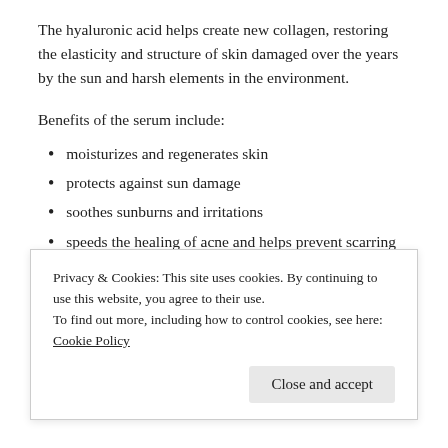The hyaluronic acid helps create new collagen, restoring the elasticity and structure of skin damaged over the years by the sun and harsh elements in the environment.
Benefits of the serum include:
moisturizes and regenerates skin
protects against sun damage
soothes sunburns and irritations
speeds the healing of acne and helps prevent scarring
lightens dark spots on skin
Privacy & Cookies: This site uses cookies. By continuing to use this website, you agree to their use.
To find out more, including how to control cookies, see here: Cookie Policy
Close and accept